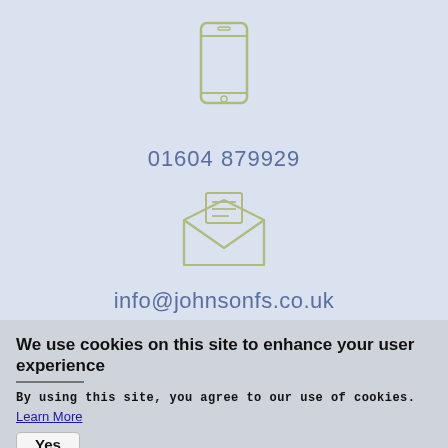[Figure (illustration): Outline icon of a mobile phone (smartphone) in olive/sage green color on light blue background]
01604 879929
[Figure (illustration): Outline icon of an open envelope with a letter inside, in olive/sage green color on light blue background]
info@johnsonfs.co.uk
We use cookies on this site to enhance your user experience
By using this site, you agree to our use of cookies.
Learn More
Yes